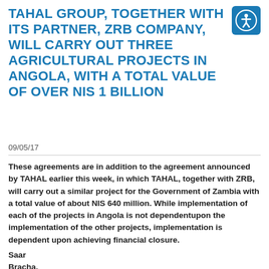TAHAL GROUP, TOGETHER WITH ITS PARTNER, ZRB COMPANY, WILL CARRY OUT THREE AGRICULTURAL PROJECTS IN ANGOLA, WITH A TOTAL VALUE OF OVER NIS 1 BILLION
09/05/17
These agreements are in addition to the agreement announced by TAHAL earlier this week, in which TAHAL, together with ZRB, will carry out a similar project for the Government of Zambia with a total value of about NIS 640 million. While implementation of each of the projects in Angola is not dependentupon the implementation of the other projects, implementation is dependent upon achieving financial closure.
Saar
Bracha,